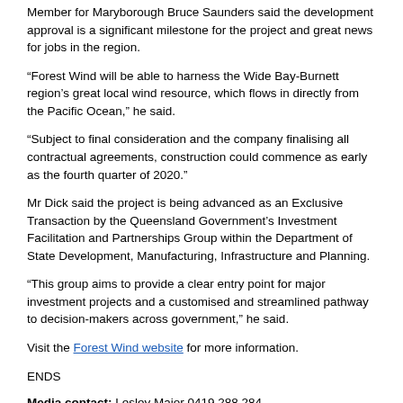Member for Maryborough Bruce Saunders said the development approval is a significant milestone for the project and great news for jobs in the region.
“Forest Wind will be able to harness the Wide Bay-Burnett region’s great local wind resource, which flows in directly from the Pacific Ocean,” he said.
“Subject to final consideration and the company finalising all contractual agreements, construction could commence as early as the fourth quarter of 2020.”
Mr Dick said the project is being advanced as an Exclusive Transaction by the Queensland Government’s Investment Facilitation and Partnerships Group within the Department of State Development, Manufacturing, Infrastructure and Planning.
“This group aims to provide a clear entry point for major investment projects and a customised and streamlined pathway to decision-makers across government,” he said.
Visit the Forest Wind website for more information.
ENDS
Media contact: Lesley Major 0419 288 284